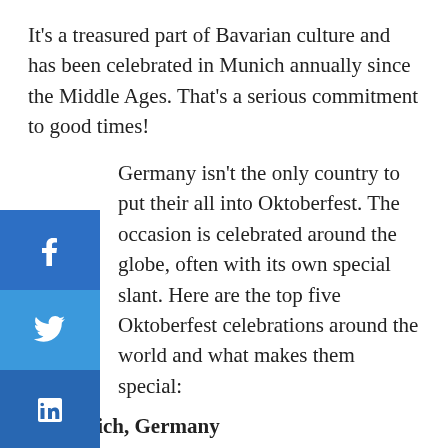It's a treasured part of Bavarian culture and has been celebrated in Munich annually since the Middle Ages. That's a serious commitment to good times!
Germany isn't the only country to put their all into Oktoberfest. The occasion is celebrated around the globe, often with its own special slant. Here are the top five Oktoberfest celebrations around the world and what makes them special:
1. Munich, Germany
This Oktoberfest is by far the most popular! With seventeen days, roughly five million visitors and an estimated seven million liters of beer consumed, this is the mother of all Oktoberfest events. Are you surprised?
2. Blumenau, Brazil